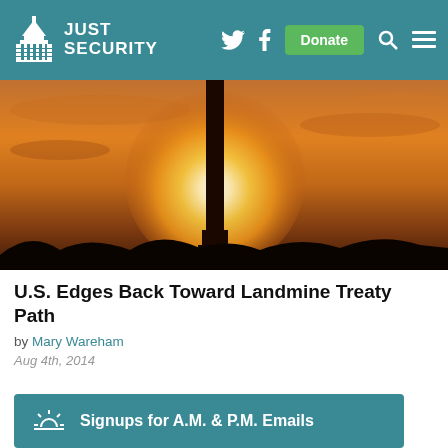JUST SECURITY
[Figure (photo): Silhouette of a monument or statue column against a golden-orange sunset sky]
U.S. Edges Back Toward Landmine Treaty Path
by Mary Wareham
Aug 4th, 2014
[Figure (infographic): Teal banner with sunrise icon: Signups for A.M. & P.M. Emails]
[Figure (photo): Partial view of the U.S. Capitol dome against a cloudy sky]